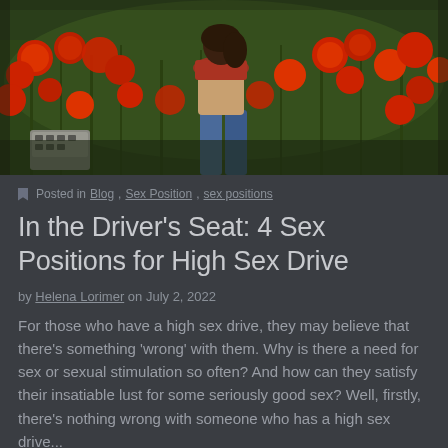[Figure (photo): Person standing in a field of red poppies with a typewriter nearby, viewed from behind, wearing denim and a red top]
Posted in Blog, Sex Position, sex positions
In the Driver's Seat: 4 Sex Positions for High Sex Drive
by Helena Lorimer on July 2, 2022
For those who have a high sex drive, they may believe that there's something 'wrong' with them. Why is there a need for sex or sexual stimulation so often? And how can they satisfy their insatiable lust for some seriously good sex?  Well, firstly, there's nothing wrong with someone who has a high sex drive...